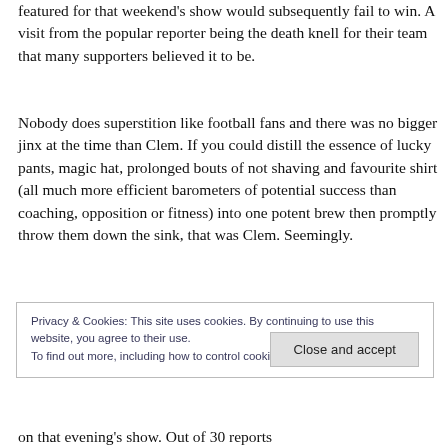featured for that weekend's show would subsequently fail to win. A visit from the popular reporter being the death knell for their team that many supporters believed it to be.
Nobody does superstition like football fans and there was no bigger jinx at the time than Clem. If you could distill the essence of lucky pants, magic hat, prolonged bouts of not shaving and favourite shirt (all much more efficient barometers of potential success than coaching, opposition or fitness) into one potent brew then promptly throw them down the sink, that was Clem. Seemingly.
Privacy & Cookies: This site uses cookies. By continuing to use this website, you agree to their use.
To find out more, including how to control cookies, see here: Cookie Policy
on that evening's show. Out of 30 reports